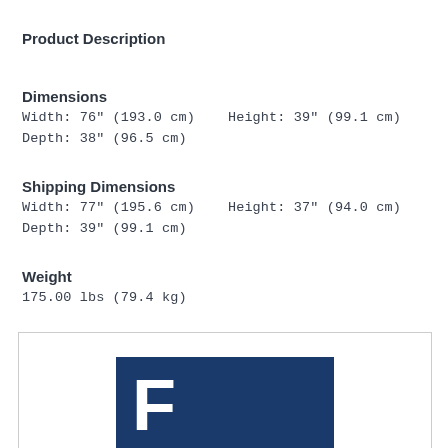Product Description
Dimensions
Width: 76" (193.0 cm)   Height: 39" (99.1 cm)
Depth: 38" (96.5 cm)
Shipping Dimensions
Width: 77" (195.6 cm)   Height: 37" (94.0 cm)
Depth: 39" (99.1 cm)
Weight
175.00 lbs (79.4 kg)
[Figure (logo): Company logo on dark blue background with large white text beginning with 'F']